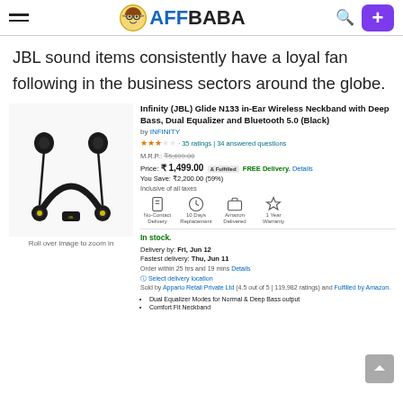AFFBABA header with hamburger menu, logo, search icon, and plus button
JBL sound items consistently have a loyal fan following in the business sectors around the globe.
[Figure (photo): Infinity (JBL) Glide N133 in-Ear Wireless Neckband earphones product photo on white background]
Roll over image to zoom in
Infinity (JBL) Glide N133 in-Ear Wireless Neckband with Deep Bass, Dual Equalizer and Bluetooth 5.0 (Black)
by INFINITY
3 stars · 35 ratings | 34 answered questions
M.R.P.: ₹5,699.00
Price: ₹1,499.00 [fulfilled] FREE Delivery. Details
You Save: ₹2,200.00 (59%)
Inclusive of all taxes
No-Contact Delivery | 10 Days Replacement | Amazon Delivered | 1 Year Warranty
In stock.
Delivery by: Fri, Jun 12
Fastest delivery: Thu, Jun 11
Order within 25 hrs and 19 mins Details
Select delivery location
Sold by Appario Retail Private Ltd (4.5 out of 5 | 119,982 ratings) and Fulfilled by Amazon.
• Dual Equalizer Modes for Normal & Deep Bass output
• Comfort Fit Neckband